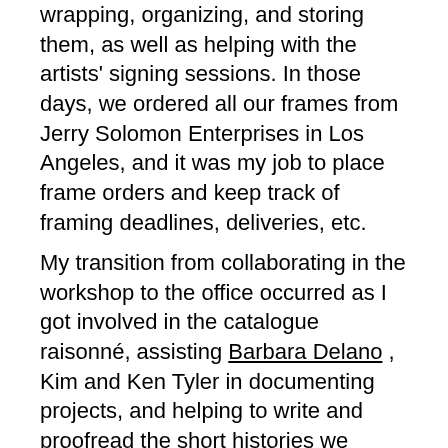wrapping, organizing, and storing them, as well as helping with the artists' signing sessions. In those days, we ordered all our frames from Jerry Solomon Enterprises in Los Angeles, and it was my job to place frame orders and keep track of framing deadlines, deliveries, etc.
My transition from collaborating in the workshop to the office occurred as I got involved in the catalogue raisonné, assisting Barbara Delano , Kim and Ken Tyler in documenting projects, and helping to write and proofread the short histories we prepared for that compilation. Fortunately, I did not stay in the office, since Ken could see